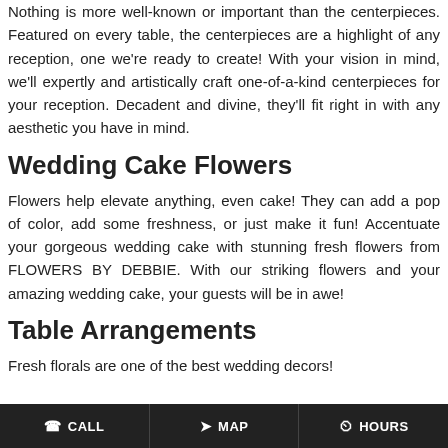Nothing is more well-known or important than the centerpieces. Featured on every table, the centerpieces are a highlight of any reception, one we're ready to create! With your vision in mind, we'll expertly and artistically craft one-of-a-kind centerpieces for your reception. Decadent and divine, they'll fit right in with any aesthetic you have in mind.
Wedding Cake Flowers
Flowers help elevate anything, even cake! They can add a pop of color, add some freshness, or just make it fun! Accentuate your gorgeous wedding cake with stunning fresh flowers from FLOWERS BY DEBBIE. With our striking flowers and your amazing wedding cake, your guests will be in awe!
Table Arrangements
Fresh florals are one of the best wedding decors!
CALL   MAP   HOURS